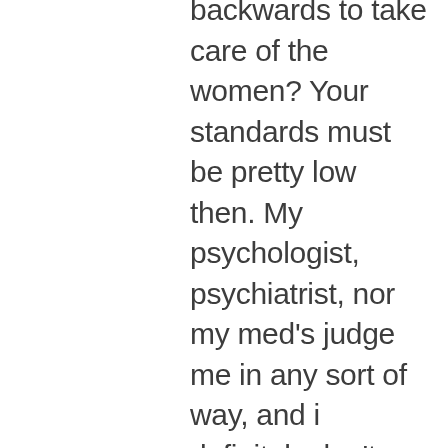backwards to take care of the women? Your standards must be pretty low then. My psychologist, psychiatrist, nor my med's judge me in any sort of way, and i definitely don't have to meet any standards. I'm glad you enjoyed your spa weekend. I however can afford a spa weekend, and have had a few. Have a great whatever, and kindly fuck off elsewhere. 🙂